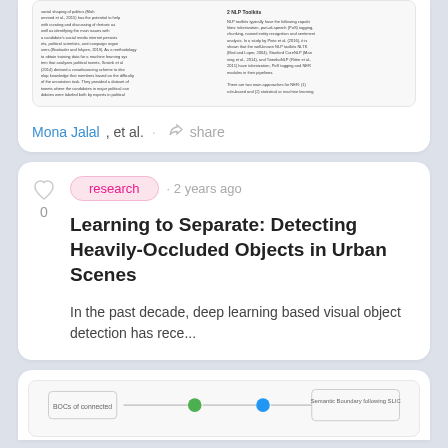[Figure (screenshot): Partial view of a research paper with two-column text layout showing academic content]
Mona Jalal, et al. · share
research · 2 years ago
Learning to Separate: Detecting Heavily-Occluded Objects in Urban Scenes
In the past decade, deep learning based visual object detection has rece...
[Figure (other): Partial diagram preview at bottom of page]